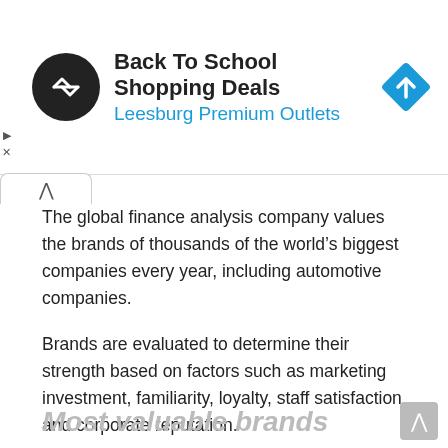[Figure (other): Advertisement banner: Back To School Shopping Deals - Leesburg Premium Outlets, with circular logo and blue diamond navigation icon]
The global finance analysis company values the brands of thousands of the world’s biggest companies every year, including automotive companies.
Brands are evaluated to determine their strength based on factors such as marketing investment, familiarity, loyalty, staff satisfaction and corporate reputation.
Brand strength is used to determine what proportion of a business’s revenue is contributed by the brand. So it’s a complex and confusing equation, not just based on the number of vehicles sold or their profit.
Most valuable brands